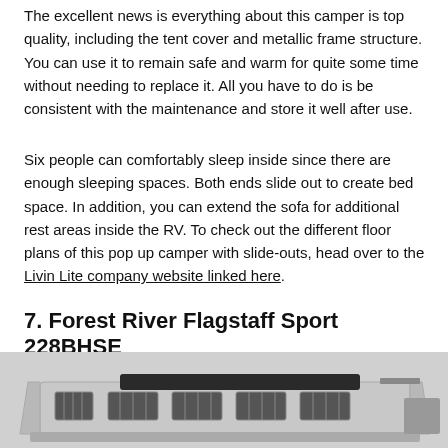The excellent news is everything about this camper is top quality, including the tent cover and metallic frame structure. You can use it to remain safe and warm for quite some time without needing to replace it. All you have to do is be consistent with the maintenance and store it well after use.
Six people can comfortably sleep inside since there are enough sleeping spaces. Both ends slide out to create bed space. In addition, you can extend the sofa for additional rest areas inside the RV. To check out the different floor plans of this pop up camper with slide-outs, head over to the Livin Lite company website linked here.
7. Forest River Flagstaff Sport 228BHSE
[Figure (photo): Photo of a Forest River Flagstaff Sport 228BHSE pop-up camper, showing a light grey tent-style camper with large windows and black roof panel, viewed from the side.]